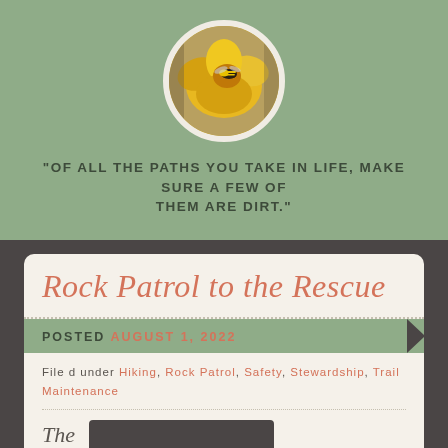[Figure (photo): Circular profile photo of a yellow flower with a bee on it, surrounded by a white/cream border]
"OF ALL THE PATHS YOU TAKE IN LIFE, MAKE SURE A FEW OF THEM ARE DIRT."
Rock Patrol to the Rescue
POSTED AUGUST 1, 2022
Filed under: Hiking, Rock Patrol, Safety, Stewardship, Trail Maintenance
The